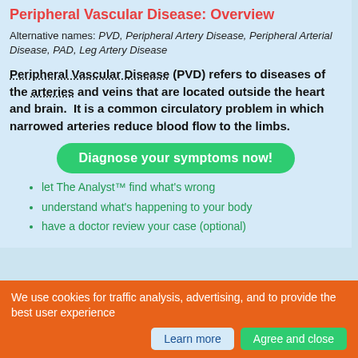Peripheral Vascular Disease: Overview
Alternative names: PVD, Peripheral Artery Disease, Peripheral Arterial Disease, PAD, Leg Artery Disease
Peripheral Vascular Disease (PVD) refers to diseases of the arteries and veins that are located outside the heart and brain. It is a common circulatory problem in which narrowed arteries reduce blood flow to the limbs.
[Figure (infographic): Green rounded button labeled 'Diagnose your symptoms now!']
let The Analyst™ find what's wrong
understand what's happening to your body
have a doctor review your case (optional)
We use cookies for traffic analysis, advertising, and to provide the best user experience  [Learn more] [Agree and close]